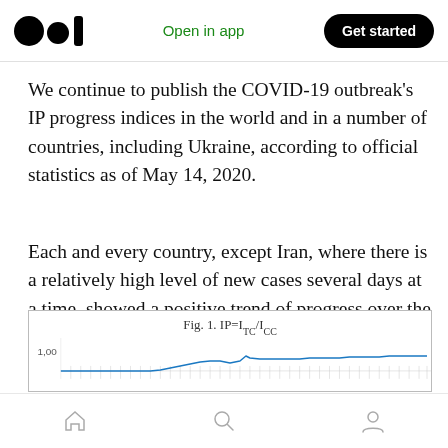Open in app | Get started
We continue to publish the COVID-19 outbreak's IP progress indices in the world and in a number of countries, including Ukraine, according to official statistics as of May 14, 2020.
Each and every country, except Iran, where there is a relatively high level of new cases several days at a time, showed a positive trend of progress over the past day (fig. 1–4).
[Figure (continuous-plot): Line chart showing IP (I_TC/I_CC) over time, with value near 1.00 at the right side. The line starts flat, rises slightly with a small peak, then stabilizes near 1.00.]
Home | Search | Profile